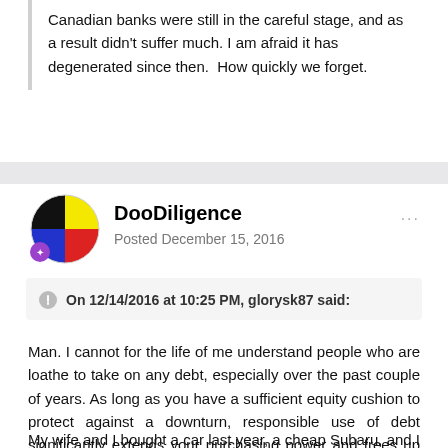Canadian banks were still in the careful stage, and as a result didn't suffer much. I am afraid it has degenerated since then.  How quickly we forget.
DooDiligence
Posted December 15, 2016
On 12/14/2016 at 10:25 PM, glorysk87 said:
Man. I cannot for the life of me understand people who are loathe to take on any debt, especially over the past couple of years. As long as you have a sufficient equity cushion to protect against a downturn, responsible use of debt significantly extends your purchasing power and frees up cash to invest.
My wife and I bought a car last year, a cheap Subaru, and I financed the entire thing at 0.55% for 5 years. I'll be paying a couple hundred bucks of interest over the entire life of